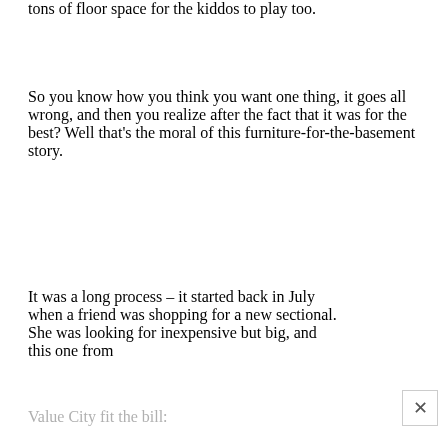tons of floor space for the kiddos to play too.
So you know how you think you want one thing, it goes all wrong, and then you realize after the fact that it was for the best? Well that’s the moral of this furniture-for-the-basement story.
It was a long process – it started back in July when a friend was shopping for a new sectional. She was looking for inexpensive but big, and this one from
Value City fit the bill: